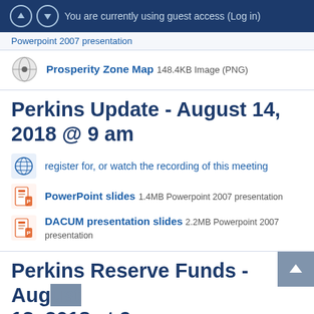You are currently using guest access (Log in)
Powerpoint 2007 presentation
Prosperity Zone Map 148.4KB Image (PNG)
Perkins Update - August 14, 2018 @ 9 am
register for, or watch the recording of this meeting
PowerPoint slides 1.4MB Powerpoint 2007 presentation
DACUM presentation slides 2.2MB Powerpoint 2007 presentation
Perkins Reserve Funds - August 13, 2018 at 9am